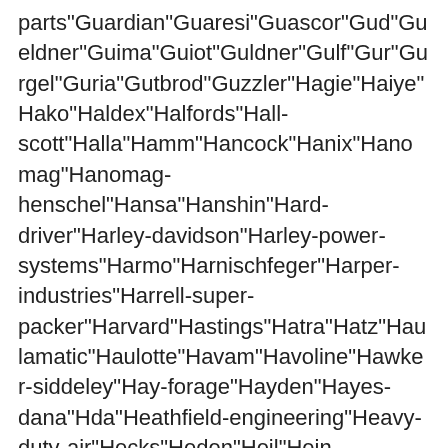parts"Guardian"Guaresi"Guascor"Gud"Gueldner"Guima"Guiot"Guldner"Gulf"Gur"Gurgel"Guria"Gutbrod"Guzzler"Hagie"Haiye"Hako"Haldex"Halfords"Hall-scott"Halla"Hamm"Hancock"Hanix"Hanomag"Hanomag-henschel"Hansa"Hanshin"Hard-driver"Harley-davidson"Harley-power-systems"Harmo"Harnischfeger"Harper-industries"Harrell-super-packer"Harvard"Hastings"Hatra"Hatz"Haulamatic"Haulotte"Havam"Havoline"Hawker-siddeley"Hay-forage"Hayden"Hayes-dana"Hda"Heathfield-engineering"Heavy-duty-air"Hecks"Heden"Heil"Hein-warner"Hein-werner"Hella"Hendrickson"Hengst"Henley"Henschel"Hercules"Heritage"Herth+buss"Hesse-carriage"Hesston"Hestair-dennis"Heston-corporation"Hexen"Hiab"Hifi-filter"Hiflo"Highfil"Hilco"Hill"Hill diesels"Hilliard"Hillmann"Himoinsa"Hindle-